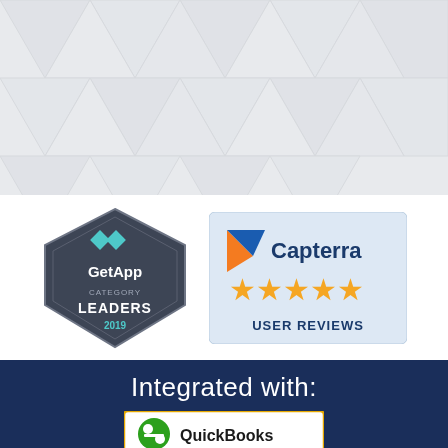[Figure (illustration): Top decorative section with light grey geometric triangle/diamond pattern background]
[Figure (logo): GetApp Category Leaders 2019 badge - dark grey pentagon/diamond shape with teal GetApp logo and text]
[Figure (logo): Capterra User Reviews badge - light blue rounded rectangle with Capterra logo, 5 orange stars, and USER REVIEWS text]
Integrated with:
[Figure (logo): Partial QuickBooks logo visible at bottom with orange dot icon inside a yellow-bordered white rectangle]